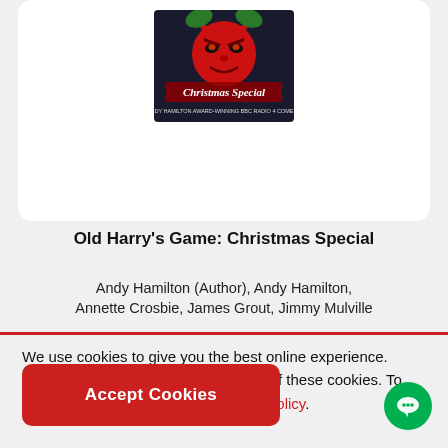[Figure (illustration): Book cover for 'Old Harry's Game: Christmas Special' showing a red devil face on a dark background with the text 'Christmas Special' and 'Andy Hamilton Award-Winning BBC Radio 4 Comedy']
Old Harry's Game: Christmas Special
Andy Hamilton (Author), Andy Hamilton, Annette Crosbie, James Grout, Jimmy Mulville
We use cookies to give you the best online experience. Please let us know if you agree to all of these cookies. To learn more view privacy and cookies policy.
Accept Cookies